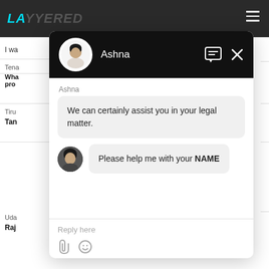[Figure (screenshot): Legal services website (lawyered.in) with dark top navigation bar showing cyan logo text 'LAWYERED' and hamburger menu icon. Background shows partial page content with rows of lawyer listings.]
[Figure (screenshot): Live chat modal overlay with dark header showing agent avatar and name 'Ashna', chat icon and X close button. Chat body shows agent message 'We can certainly assist you in your legal matter.' and user message 'Please help me with your NAME' with user avatar. Input area shows 'Reply here' placeholder and attachment/emoji icons.]